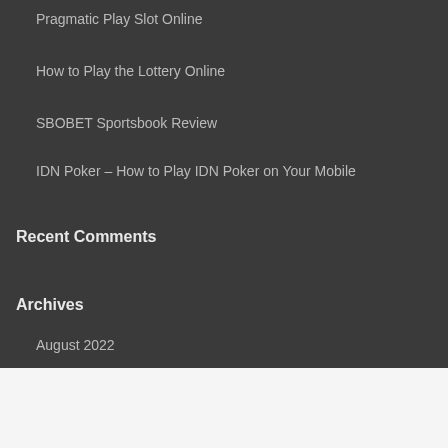Pragmatic Play Slot Online
How to Play the Lottery Online
SBOBET Sportsbook Review
IDN Poker – How to Play IDN Poker on Your Mobile
Recent Comments
Archives
August 2022
The Best Way to Play Baccarat
SBOBET Review